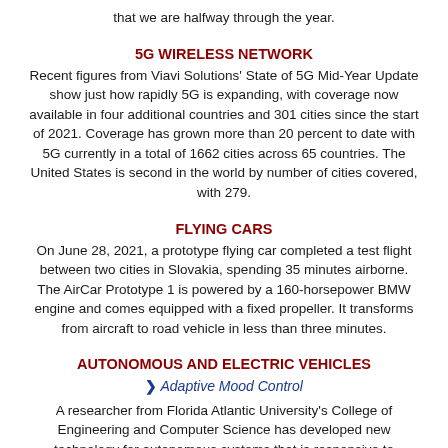that we are halfway through the year.
5G WIRELESS NETWORK
Recent figures from Viavi Solutions' State of 5G Mid-Year Update show just how rapidly 5G is expanding, with coverage now available in four additional countries and 301 cities since the start of 2021. Coverage has grown more than 20 percent to date with 5G currently in a total of 1662 cities across 65 countries. The United States is second in the world by number of cities covered, with 279.
FLYING CARS
On June 28, 2021, a prototype flying car completed a test flight between two cities in Slovakia, spending 35 minutes airborne. The AirCar Prototype 1 is powered by a 160-horsepower BMW engine and comes equipped with a fixed propeller. It transforms from aircraft to road vehicle in less than three minutes.
AUTONOMOUS AND ELECTRIC VEHICLES
❯ Adaptive Mood Control
A researcher from Florida Atlantic University's College of Engineering and Computer Science has developed new technology for autonomous systems that is responsive to